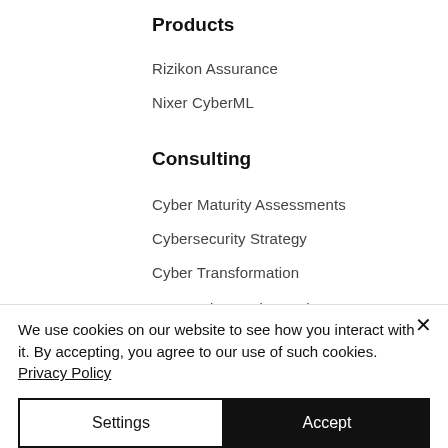Products
Rizikon Assurance
Nixer CyberML
Consulting
Cyber Maturity Assessments
Cybersecurity Strategy
Cyber Transformation
Penetration testing and vulnerability scanning
Virtual CISO
Third Party Assurance
Credential Attacks Services
We use cookies on our website to see how you interact with it. By accepting, you agree to our use of such cookies. Privacy Policy
Settings
Accept